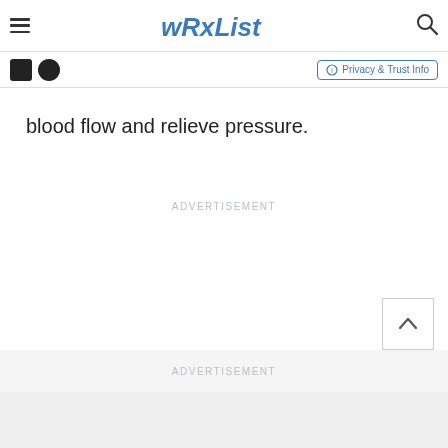RxList
blood flow and relieve pressure.
ADVERTISEMENT
ADVERTISEMENT